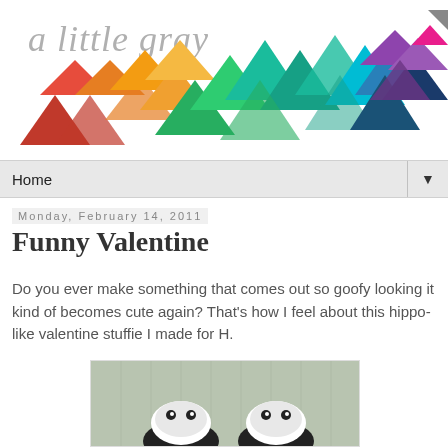[Figure (logo): Blog header for 'a little gray' with colorful geometric triangle shapes in rainbow colors arranged in a wave pattern on white background]
Home ▼
Monday, February 14, 2011
Funny Valentine
Do you ever make something that comes out so goofy looking it kind of becomes cute again? That's how I feel about this hippo-like valentine stuffie I made for H.
[Figure (photo): Photo of a stuffed animal (stuffie) resembling a hippo-like valentine on a green/grey background, partially visible at bottom of page]